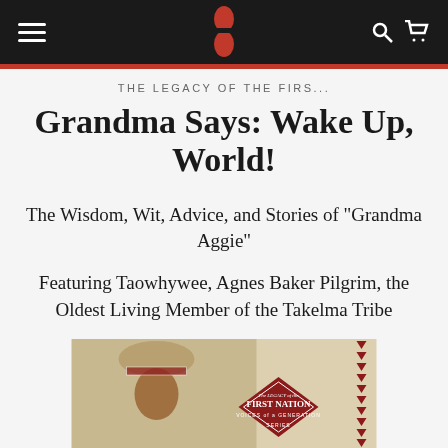Navigation bar with hamburger menu, logo, search and cart icons
THE LEGACY OF THE FIRS...
Grandma Says: Wake Up, World!
The Wisdom, Wit, Advice, and Stories of "Grandma Aggie"
Featuring Taowhywee, Agnes Baker Pilgrim, the Oldest Living Member of the Takelma Tribe
[Figure (photo): Book cover showing an elderly Native American woman in traditional headdress outdoors, with a red diamond badge reading 'The Legacy of the First Nation Voices of a Generation', and red triangle decorative border on right side]